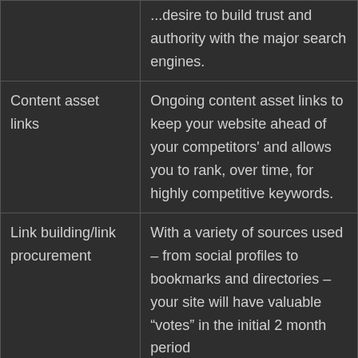|  | ...desire to build trust and authority with the major search engines. |
| Content asset links | Ongoing content asset links to keep your website ahead of your competitors' and allows you to rank, over time, for highly competitive keywords. |
| Link building/link procurement | With a variety of sources used – from social profiles to bookmarks and directories – your site will have valuable “votes” in the initial 2 month period |